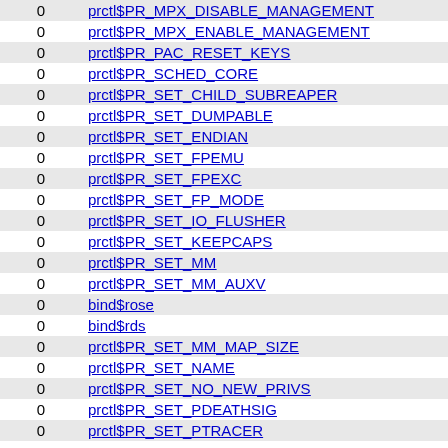|  |  |
| --- | --- |
| 0 | prctl$PR_MPX_DISABLE_MANAGEMENT |
| 0 | prctl$PR_MPX_ENABLE_MANAGEMENT |
| 0 | prctl$PR_PAC_RESET_KEYS |
| 0 | prctl$PR_SCHED_CORE |
| 0 | prctl$PR_SET_CHILD_SUBREAPER |
| 0 | prctl$PR_SET_DUMPABLE |
| 0 | prctl$PR_SET_ENDIAN |
| 0 | prctl$PR_SET_FPEMU |
| 0 | prctl$PR_SET_FPEXC |
| 0 | prctl$PR_SET_FP_MODE |
| 0 | prctl$PR_SET_IO_FLUSHER |
| 0 | prctl$PR_SET_KEEPCAPS |
| 0 | prctl$PR_SET_MM |
| 0 | prctl$PR_SET_MM_AUXV |
| 0 | bind$rose |
| 0 | bind$rds |
| 0 | prctl$PR_SET_MM_MAP_SIZE |
| 0 | prctl$PR_SET_NAME |
| 0 | prctl$PR_SET_NO_NEW_PRIVS |
| 0 | prctl$PR_SET_PDEATHSIG |
| 0 | prctl$PR_SET_PTRACER |